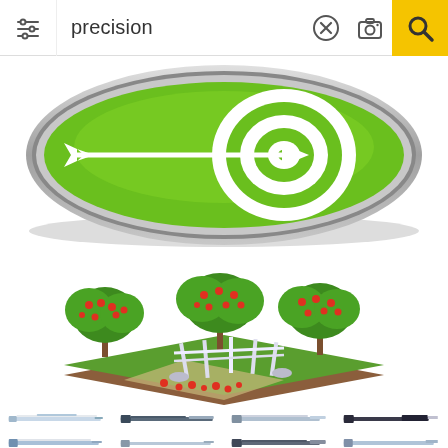precision
[Figure (illustration): Green oval button with white bullseye target and arrow pointing to center, with gray shadow/bevel effect]
[Figure (illustration): Isometric precision agriculture illustration: three fruit trees with red fruits on a green/brown plot, with white mechanical harvesting robot/frame structure in the center]
[Figure (illustration): Grid of 16 precision caliper/measuring tool icons in various styles: digital calipers, vernier calipers, shown in blue-gray, dark, and golden color variants, arranged in 4 columns and 4 rows]